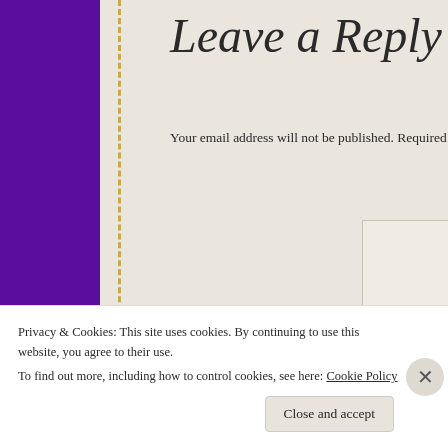Leave a Reply
Your email address will not be published. Required fields are m
Comment *
Name *
Privacy & Cookies: This site uses cookies. By continuing to use this website, you agree to their use. To find out more, including how to control cookies, see here: Cookie Policy
Close and accept